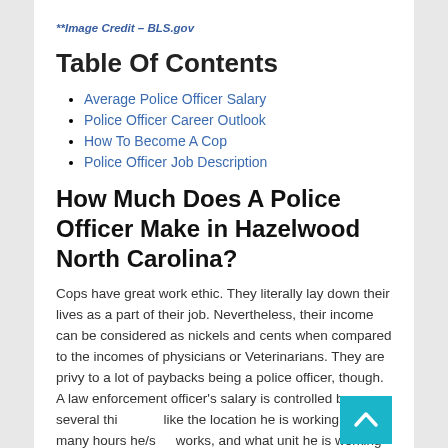**Image Credit – BLS.gov
Table Of Contents
Average Police Officer Salary
Police Officer Career Outlook
How To Become A Cop
Police Officer Job Description
How Much Does A Police Officer Make in Hazelwood North Carolina?
Cops have great work ethic. They literally lay down their lives as a part of their job. Nevertheless, their income can be considered as nickels and cents when compared to the incomes of physicians or Veterinarians. They are privy to a lot of paybacks being a police officer, though. A law enforcement officer's salary is controlled by several things like the location he is working in, how many hours he/she works, and what unit he is working under. Let us look at the